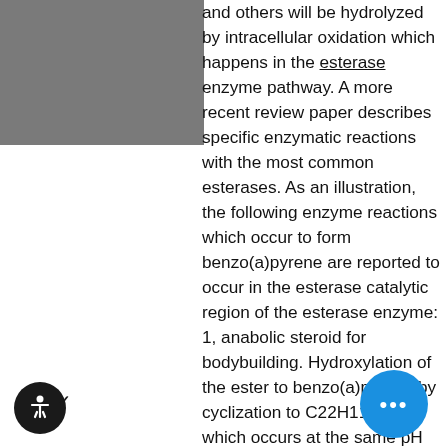and others will be hydrolyzed by intracellular oxidation which happens in the esterase enzyme pathway. A more recent review paper describes specific enzymatic reactions with the most common esterases. As an illustration, the following enzyme reactions which occur to form benzo(a)pyrene are reported to occur in the esterase catalytic region of the esterase enzyme: 1, anabolic steroid for bodybuilding. Hydroxylation of the ester to benzo(a)pyrene by cyclization to C22H11OH, which occurs at the same pH as H2SO4; 2. Enzymatic hydrolysis to benzo(a)pyrene by a reaction with the carboxylic acid moiety of ester into a cyclic acid moiety and the hydroxylated form of the ester, which takes place at C22H11OH; 3, anabolic steroid for bodybuilding. Conversion to hydrocyanide of the benzo(a)pyrene into hydrocyanic acid and hydroxylated monomethylamine, which is most hydroxylated at C22H11OH and most